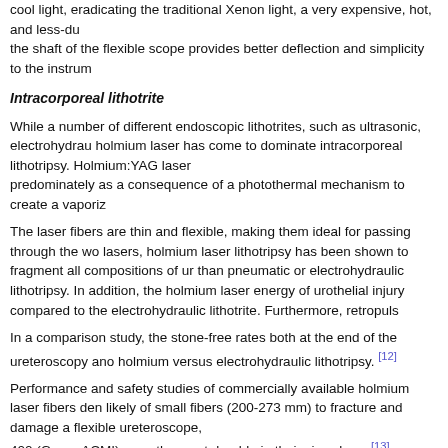cool light, eradicating the traditional Xenon light, a very expensive, hot, and less-du the shaft of the flexible scope provides better deflection and simplicity to the instrum
Intracorporeal lithotrite
While a number of different endoscopic lithotrites, such as ultrasonic, electrohydrau holmium laser has come to dominate intracorporeal lithotripsy. Holmium:YAG laser predominately as a consequence of a photothermal mechanism to create a vaporiz
The laser fibers are thin and flexible, making them ideal for passing through the wo lasers, holmium laser lithotripsy has been shown to fragment all compositions of ur than pneumatic or electrohydraulic lithotripsy. In addition, the holmium laser energy of urothelial injury compared to the electrohydraulic lithotrite. Furthermore, retropuls
In a comparison study, the stone-free rates both at the end of the ureteroscopy ano holmium versus electrohydraulic lithotripsy. [12]
Performance and safety studies of commercially available holmium laser fibers den likely of small fibers (200-273 mm) to fracture and damage a flexible ureteroscope, 400 (Gyrus-ACMI) were the most durable in their size class. [13]
Stone retrieval devices
A variety of stone retrieval devices are utilized in ureteroscopy under different circu